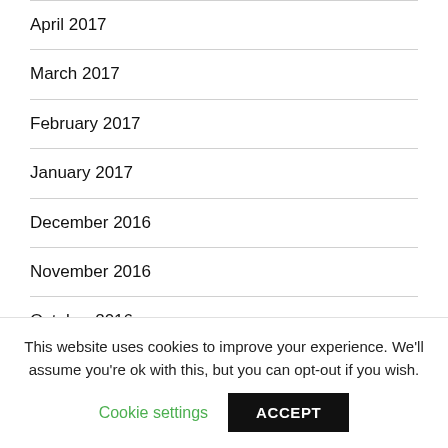April 2017
March 2017
February 2017
January 2017
December 2016
November 2016
October 2016
September 2016
This website uses cookies to improve your experience. We'll assume you're ok with this, but you can opt-out if you wish.
Cookie settings   ACCEPT